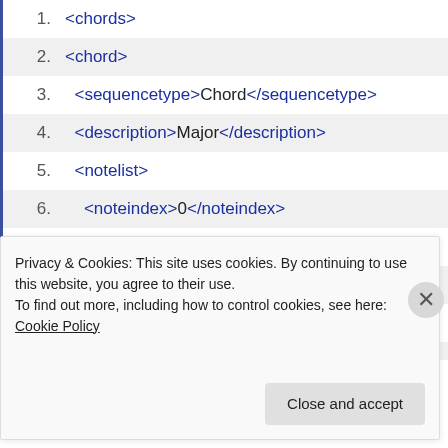1. <chords>
2. <chord>
3.   <sequencetype>Chord</sequencetype>
4.   <description>Major</description>
5.   <notelist>
6.     <noteindex>0</noteindex>
7.     <noteindex>4</noteindex>
8.     <noteindex>7</noteindex>
9.   </notelist>
10. </chord>
11.
Privacy & Cookies: This site uses cookies. By continuing to use this website, you agree to their use.
To find out more, including how to control cookies, see here: Cookie Policy